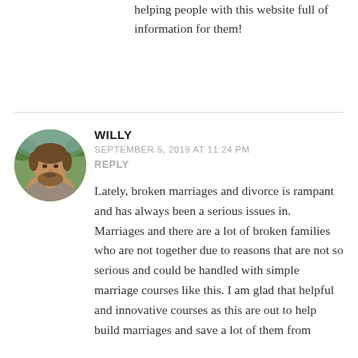helping people with this website full of information for them!
[Figure (photo): Circular avatar photo of Willy, a man with a beard outdoors with trees in background]
WILLY
SEPTEMBER 5, 2019 AT 11:24 PM
REPLY
Lately, broken marriages and divorce is rampant and has always been a serious issues in. Marriages and there are a lot of broken families who are not together due to reasons that are not so serious and could be handled with simple marriage courses like this. I am glad that helpful and innovative courses as this are out to help build marriages and save a lot of them from